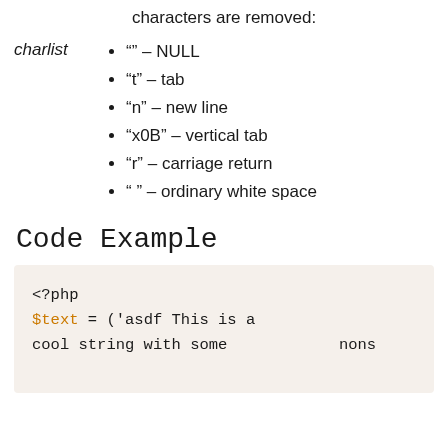characters are removed:
"" – NULL
"t" – tab
"n" – new line
"x0B" – vertical tab
"r" – carriage return
" " – ordinary white space
Code Example
<?php
$text = ('asdf This is a
cool string with some    nons